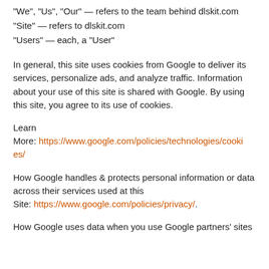“We”, “Us”, “Our” — refers to the team behind dlskit.com
“Site” — refers to dlskit.com
“Users” — each, a “User”
In general, this site uses cookies from Google to deliver its services, personalize ads, and analyze traffic. Information about your use of this site is shared with Google. By using this site, you agree to its use of cookies.
Learn
More: https://www.google.com/policies/technologies/cookies/
How Google handles & protects personal information or data across their services used at this Site: https://www.google.com/policies/privacy/.
How Google uses data when you use Google partners’ sites